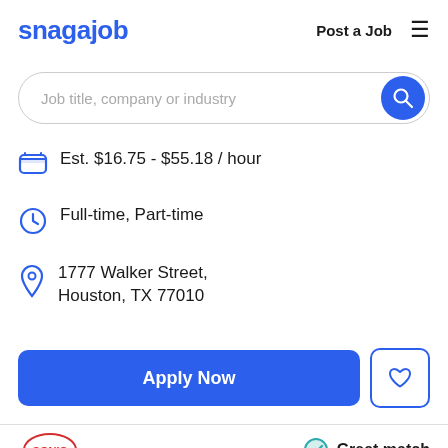snagajob   Post a Job  ≡
Job title, company or industry
Est. $16.75 - $55.18 / hour
Full-time, Part-time
1777 Walker Street, Houston, TX 77010
Apply Now
[Figure (logo): Sonic restaurant logo at bottom left]
Great match